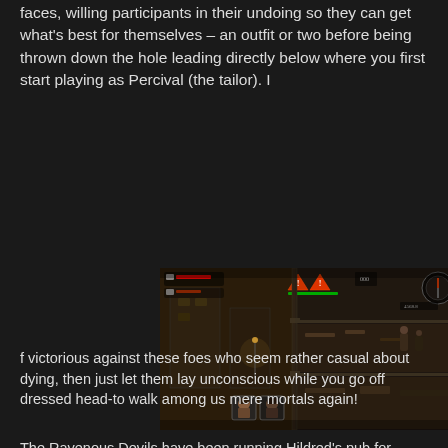faces, willing participants in their undoing so they can get what's best for themselves – an outfit or two before being thrown down the hole leading directly below where you first start playing as Percival (the tailor). I
[Figure (screenshot): A dark, atmospheric game screenshot showing a cross-section view of a multi-story building interior with characters. The scene shows a gloomy industrial or gothic setting with multiple floors visible, UI elements including health indicators and icons at the top, and two character portraits at the bottom left.]
f victorious against these foes who seem rather casual about dying, then just let them lay unconscious while you go off dressed head-to walk among us mere mortals again!
The Ravenous Devils have been running Hildred's pub for some time now. They take